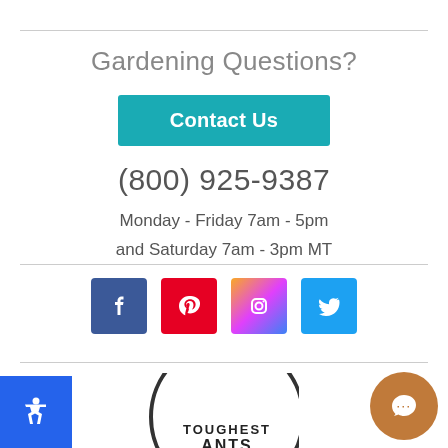Gardening Questions?
Contact Us
(800) 925-9387
Monday - Friday 7am - 5pm and Saturday 7am - 3pm MT
[Figure (other): Social media icons: Facebook, Pinterest, Instagram, Twitter]
[Figure (logo): Circular stamp logo with text TOUGHEST PLANTS]
[Figure (other): Accessibility icon button (blue background, white figure)]
[Figure (other): Chat button (brown circle with chat icon)]